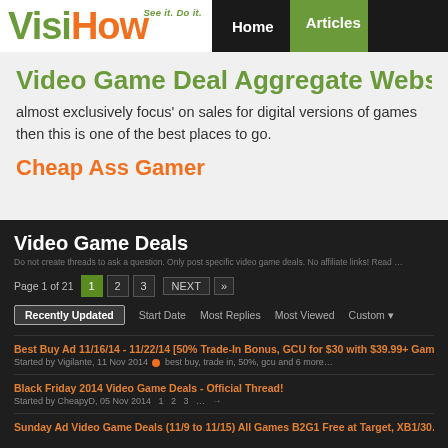VisiHow — See it. Do it. | Home | Articles
Video Game Deal Aggregate Webs…
almost exclusively focus' on sales for digital versions of games then this is one of the best places to go.
Cheap Ass Gamer
[Figure (screenshot): Screenshot of Cheap Ass Gamer Video Game Deals forum page showing threads: 'Best Buy Ad 11/16/14 - 11/22/14 [50% Trade-In Bonus, GCU for $30 with $39.99+ Game...' and 'Black Friday 2014 Video Game Deals - Official Thread!' and 'Sunday Ad Video Game Deals (11/9 to 11/15) All Games B2G1 Free at Target, XB1/30...']